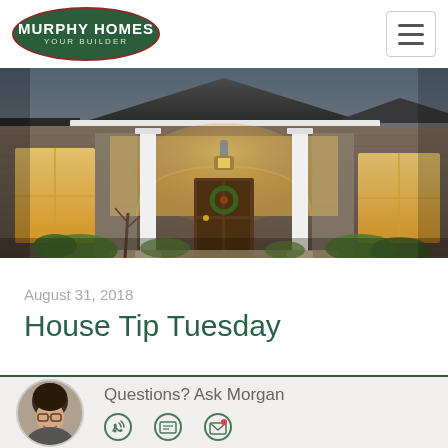Murphy Homes Your Builder
[Figure (photo): Exterior photo of a craftsman-style home entrance at dusk, with stone facade, white columns, arched covered porch, warm interior lighting visible through windows, and front door with wreath.]
August 31, 2018
House Tip Tuesday
Questions? Ask Morgan